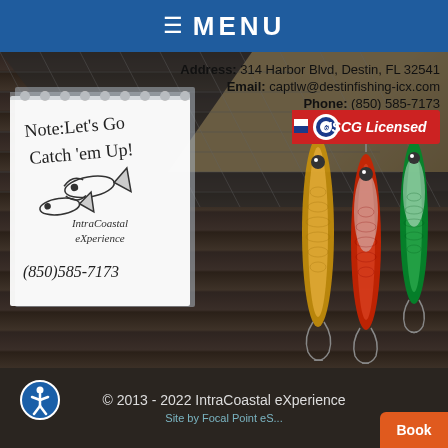≡ MENU
Address: 314 Harbor Blvd, Destin, FL 32541
Email: captlw@destinfishing-icx.com
Phone: (850) 585-7173
[Figure (logo): USCG Licensed badge with US Coast Guard emblem, red/white/blue striped ribbon]
[Figure (illustration): Notepad paper with handwritten text 'Note: Let's Go Catch 'em Up!' with IntraCoastal eXperience logo and fish illustrations, phone number (850)585-7173]
[Figure (photo): Three fishing lures hanging against wooden plank and fish net background — gold/brown spoon lure, red/silver spoon lure, green/silver spoon lure]
© 2013 - 2022 IntraCoastal eXperience
Site by Focal Point eS...